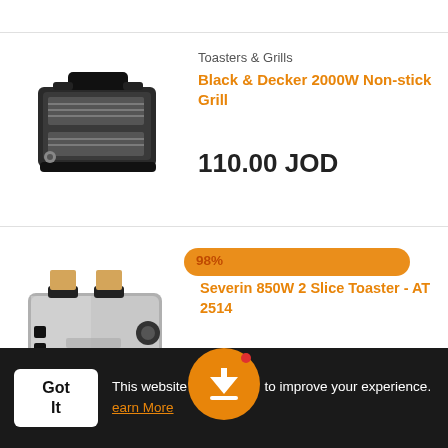[Figure (photo): Black & Decker non-stick grill appliance, top view showing ridged grill plates]
Toasters & Grills
Black & Decker 2000W Non-stick Grill
110.00 JOD
[Figure (photo): Severin stainless steel 2-slice toaster with bread slots visible at top, AT 2514 model]
Severin 850W 2 Slice Toaster - AT 2514
98%
لتجربة أفضل! حمّل التطبيق
This website uses cookies to improve your experience. Learn More
Got It